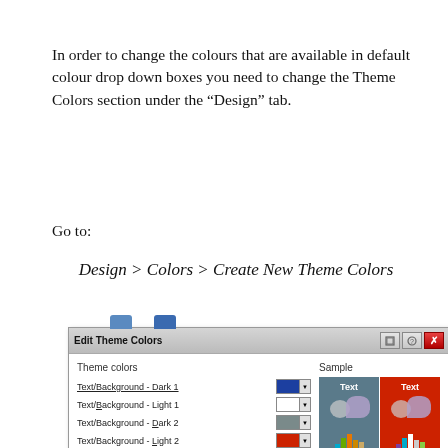In order to change the colours that are available in default colour drop down boxes you need to change the Theme Colors section under the “Design” tab.
Go to:
Design > Colors > Create New Theme Colors
[Figure (screenshot): Screenshot of the Edit Theme Colors dialog box in a Windows application, showing Theme colors section on the left with color swatches for Text/Background - Dark 1 (blue), Text/Background - Light 1 (white), Text/Background - Dark 2 (gray), Text/Background - Light 2 (red), Accent 1 (purple), Accent 2 (cyan), Accent 3 (green), Accent 4 (orange partial), and a Sample section on the right showing dark gray and red panels with Text labels, chart bar previews, and Hyperlink text.]